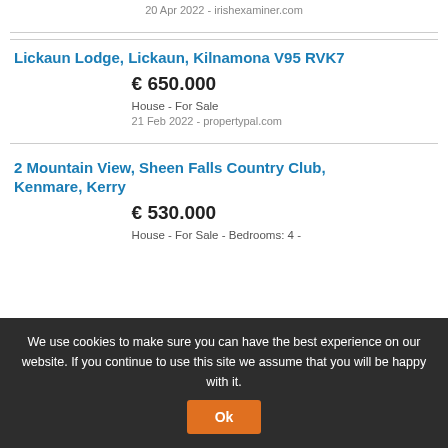20 Apr 2022 - irishexaminer.com
Lickaun Lodge, Lickaun, Kilnamona V95 RVK7
€ 650.000
House - For Sale
21 Feb 2022 - propertypal.com
2 Mountain View, Sheen Falls Country Club, Kenmare, Kerry
€ 530.000
House - For Sale - Bedrooms: 4 -
We use cookies to make sure you can have the best experience on our website. If you continue to use this site we assume that you will be happy with it. Ok